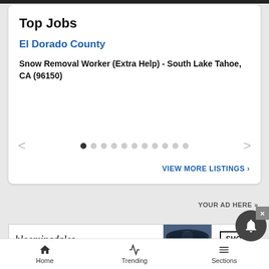Top Jobs
El Dorado County
Snow Removal Worker (Extra Help) - South Lake Tahoe, CA (96150)
VIEW MORE LISTINGS ›
YOUR AD HERE »
[Figure (illustration): Bloomingdale's advertisement banner with logo, tagline 'View Today's Top Deals!', woman wearing dark hat, and 'SHOP NOW >' button]
Home   Trending   Sections